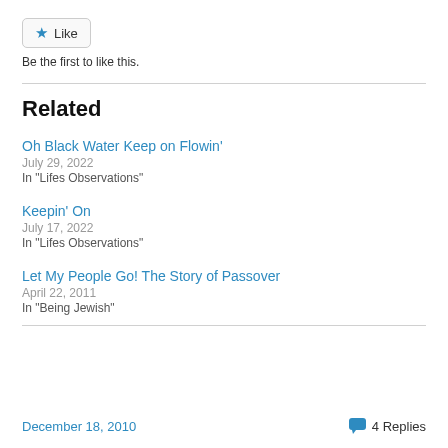[Figure (other): Like button with star icon]
Be the first to like this.
Related
Oh Black Water Keep on Flowin'
July 29, 2022
In "Lifes Observations"
Keepin' On
July 17, 2022
In "Lifes Observations"
Let My People Go! The Story of Passover
April 22, 2011
In "Being Jewish"
December 18, 2010   4 Replies